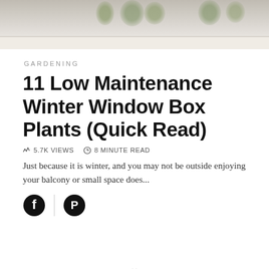[Figure (photo): Hero image showing a window box or shelf with winter plants/greenery, partially cropped at top]
GARDENING
11 Low Maintenance Winter Window Box Plants (Quick Read)
5.7K VIEWS   8 MINUTE READ
Just because it is winter, and you may not be outside enjoying your balcony or small space does...
[Figure (other): Social sharing icons: Facebook and Pinterest buttons with a vertical divider]